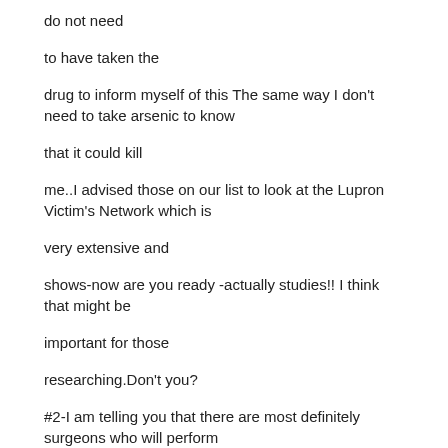do not need
to have taken the
drug to inform myself of this The same way I don't need to take arsenic to know
that it could kill
me..I advised those on our list to look at the Lupron Victim's Network which is
very extensive and
shows-now are you ready -actually studies!! I think that might be
important for those
researching.Don't you?
#2-I am telling you that there are most definitely surgeons who will perform
abdominal myomectomies
on very large,very extensive myomas without the use of Lupron